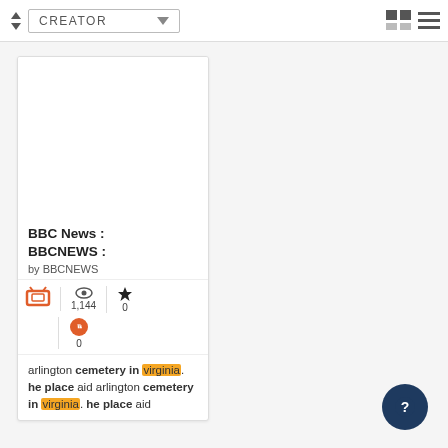CREATOR (dropdown)
[Figure (screenshot): Card showing BBC News : BBCNEWS entry with TV icon, view count 1,144, star rating 0, quote count 0, and text snippet about arlington cemetery in virginia]
BBC News : BBCNEWS :
by BBCNEWS
1,144
0
0
arlington cemetery in virginia. he place aid arlington cemetery in virginia. he place aid